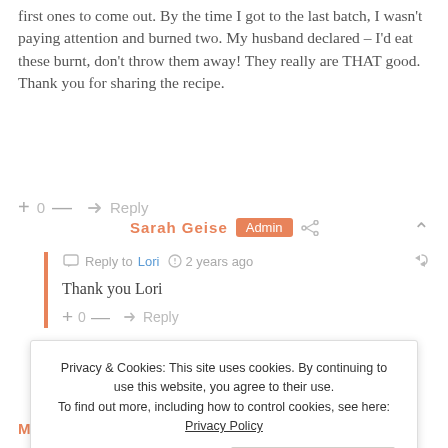first ones to come out. By the time I got to the last batch, I wasn't paying attention and burned two. My husband declared – I'd eat these burnt, don't throw them away! They really are THAT good. Thank you for sharing the recipe.
+ 0 — ➜ Reply
Sarah Geise Admin
Reply to Lori · 2 years ago
Thank you Lori
+ 0 — ➜ Reply
Ms R · 2 years ago
Privacy & Cookies: This site uses cookies. By continuing to use this website, you agree to their use. To find out more, including how to control cookies, see here: Privacy Policy
Close and accept
I don't own an air fryer Ms R I couldn't tell you about that. I'm sorry.